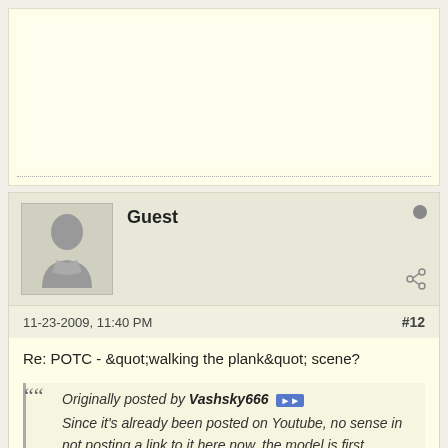[Figure (other): Advertisement block with light yellow background and dotted bottom border]
Guest
11-23-2009, 11:40 PM
#12
Re: POTC - &quot;walking the plank&quot; scene?
Originally posted by Vashsky666
Since it's already been posted on Youtube, no sense in not posting a link to it here now, the model is first displayed on 2:44 and continues from there.
YouTube - Walt Disney - Pirates Of The Caribbean (1)